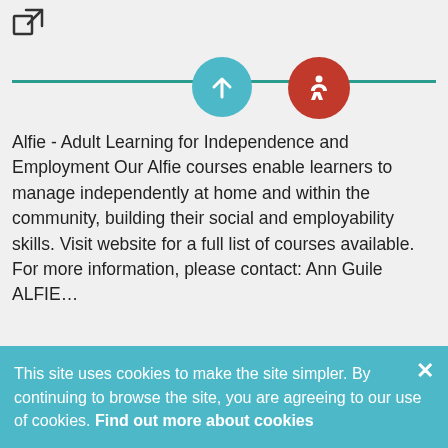[Figure (other): External link icon (box with arrow), blue upload circle button, and red accessibility circle button above a green horizontal divider line]
Alfie - Adult Learning for Independence and Employment Our Alfie courses enable learners to manage independently at home and within the community, building their social and employability skills. Visit website for a full list of courses available. For more information, please contact: Ann Guile ALFIE…
01628 827476 (ALFIE) 01628 824444 (Main line)
aguile@bca.ac.uk
Add to My Shortlist
This site uses cookies to make the site simpler. By continuing to browse the site, you are agreeing to our use of cookies. Find out more about cookies